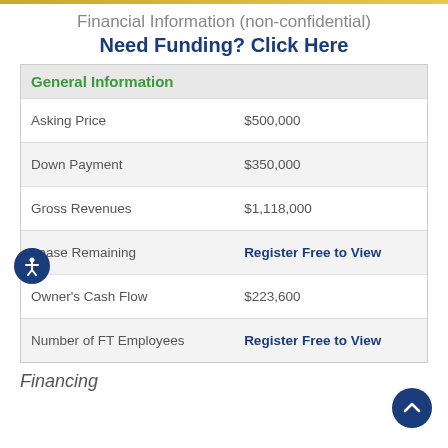Financial Information (non-confidential)
Need Funding? Click Here
|  |  |
| --- | --- |
| Asking Price | $500,000 |
| Down Payment | $350,000 |
| Gross Revenues | $1,118,000 |
| Lease Remaining | Register Free to View |
| Owner's Cash Flow | $223,600 |
| Number of FT Employees | Register Free to View |
Financing